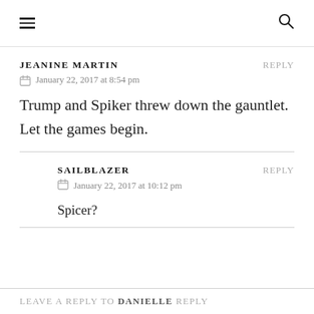≡  🔍
JEANINE MARTIN   REPLY
January 22, 2017 at 8:54 pm
Trump and Spiker threw down the gauntlet. Let the games begin.
SAILBLAZER   REPLY
January 22, 2017 at 10:12 pm
Spicer?
LEAVE A REPLY TO DANIELLE REPLY